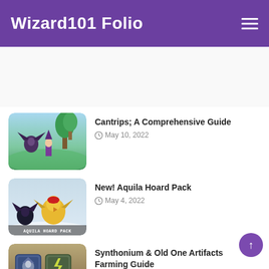Wizard101 Folio
[Figure (screenshot): Game screenshot: wizard character with creature in outdoor area]
Cantrips; A Comprehensive Guide
May 10, 2022
[Figure (screenshot): Game promotional image: Aquila Hoard Pack with bird characters]
New! Aquila Hoard Pack
May 4, 2022
[Figure (screenshot): Game screenshot: Synthonium & Old One Artifacts cards]
Synthonium & Old One Artifacts Farming Guide